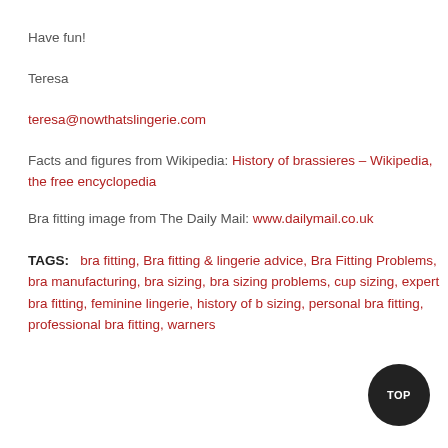Have fun!
Teresa
teresa@nowthatslingerie.com
Facts and figures from Wikipedia: History of brassieres – Wikipedia, the free encyclopedia
Bra fitting image from The Daily Mail: www.dailymail.co.uk
TAGS:   bra fitting, Bra fitting & lingerie advice, Bra Fitting Problems, bra manufacturing, bra sizing, bra sizing problems, cup sizing, expert bra fitting, feminine lingerie, history of bra sizing, personal bra fitting, professional bra fitting, warners